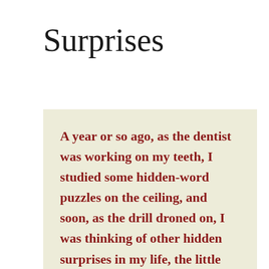Surprises
A year or so ago, as the dentist was working on my teeth, I studied some hidden-word puzzles on the ceiling, and soon, as the drill droned on, I was thinking of other hidden surprises in my life, the little wonders that wait by the thousands for me to find them. As I thought about it, it seemed possible that all the moments in a day are made of useful surprises, small shocks that have the power to uplift a life. A